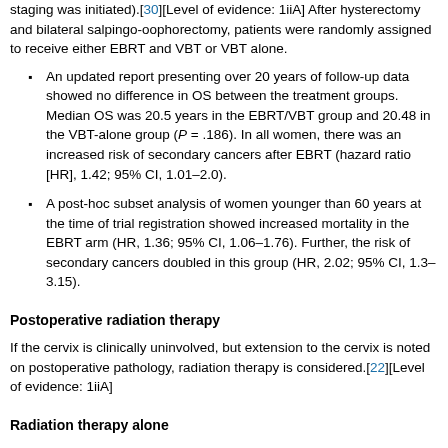staging was initiated).[30][Level of evidence: 1iiA] After hysterectomy and bilateral salpingo-oophorectomy, patients were randomly assigned to receive either EBRT and VBT or VBT alone.
An updated report presenting over 20 years of follow-up data showed no difference in OS between the treatment groups. Median OS was 20.5 years in the EBRT/VBT group and 20.48 in the VBT-alone group (P = .186). In all women, there was an increased risk of secondary cancers after EBRT (hazard ratio [HR], 1.42; 95% CI, 1.01–2.0).
A post-hoc subset analysis of women younger than 60 years at the time of trial registration showed increased mortality in the EBRT arm (HR, 1.36; 95% CI, 1.06–1.76). Further, the risk of secondary cancers doubled in this group (HR, 2.02; 95% CI, 1.3–3.15).
Postoperative radiation therapy
If the cervix is clinically uninvolved, but extension to the cervix is noted on postoperative pathology, radiation therapy is considered.[22][Level of evidence: 1iiA]
Radiation therapy alone